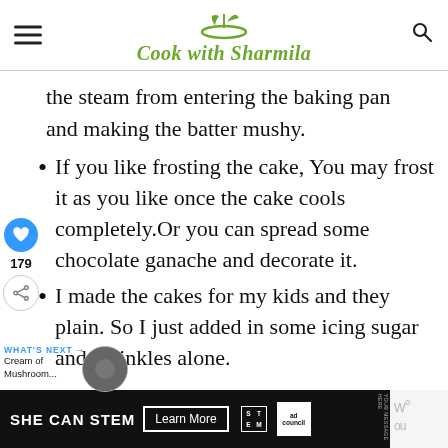Cook with Sharmila
the steam from entering the baking pan and making the batter mushy.
If you like frosting the cake, You may frost it as you like once the cake cools completely.Or you can spread some chocolate ganache and decorate it.
I made the cakes for my kids and they plain. So I just added in some icing sugar and sprinkles alone.
[Figure (screenshot): Advertisement banner: SHE CAN STEM with Learn More button and Ad Council logo]